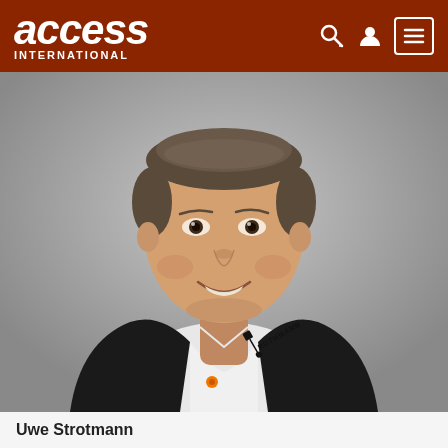access INTERNATIONAL
[Figure (photo): Professional headshot of Uwe Strotmann, a middle-aged man with short gray-brown hair, smiling, wearing a black blazer over a white shirt with the Ruthmann logo/lanyard visible at the collar. Gray background.]
Uwe Strotmann